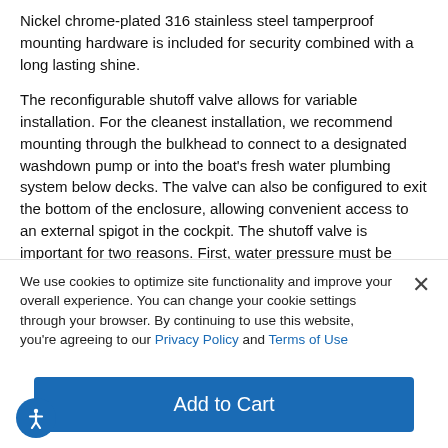Nickel chrome-plated 316 stainless steel tamperproof mounting hardware is included for security combined with a long lasting shine.
The reconfigurable shutoff valve allows for variable installation. For the cleanest installation, we recommend mounting through the bulkhead to connect to a designated washdown pump or into the boat's fresh water plumbing system below decks. The valve can also be configured to exit the bottom of the enclosure, allowing convenient access to an external spigot in the cockpit. The shutoff valve is important for two reasons. First, water pressure must be relieved to allow the expandable hose to shrink to its original size before it can be stowed back into the
We use cookies to optimize site functionality and improve your overall experience. You can change your cookie settings through your browser. By continuing to use this website, you're agreeing to our Privacy Policy and Terms of Use
Add to Cart